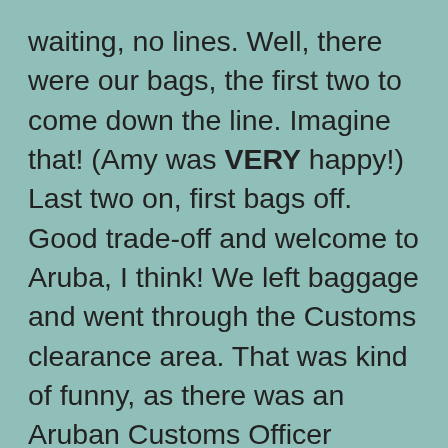waiting, no lines. Well, there were our bags, the first two to come down the line. Imagine that! (Amy was VERY happy!) Last two on, first bags off. Good trade-off and welcome to Aruba, I think! We left baggage and went through the Customs clearance area. That was kind of funny, as there was an Aruban Customs Officer standing there with a very stern face. I asked if I needed to place my bag up on the x-ray machine, and he replied, “No, you have nothing I want!” He then broke into a huge big grin and announced, “Bon Bini! Welcome to Aruba!” The masses behind us followed suit